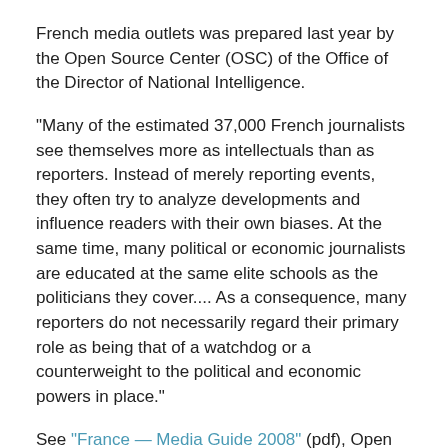French media outlets was prepared last year by the Open Source Center (OSC) of the Office of the Director of National Intelligence.
"Many of the estimated 37,000 French journalists see themselves more as intellectuals than as reporters. Instead of merely reporting events, they often try to analyze developments and influence readers with their own biases. At the same time, many political or economic journalists are educated at the same elite schools as the politicians they cover.... As a consequence, many reporters do not necessarily regard their primary role as being that of a watchdog or a counterweight to the political and economic powers in place."
See "France — Media Guide 2008" (pdf), Open Source Center, 16 July 2008.
Another OSC document last year provided a survey